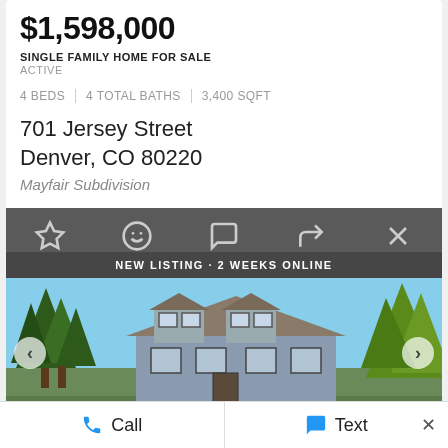$1,598,000
SINGLE FAMILY HOME FOR SALE
ACTIVE
4 BEDS | 4 TOTAL BATHS | 3,400 SQFT
701 Jersey Street
Denver, CO 80220
Mayfair Subdivision
[Figure (screenshot): Action bar with icons: star (favorite), smiley face, speech bubble (comment), share arrow, and X (close)]
NEW LISTING · 2 WEEKS ONLINE
[Figure (photo): Exterior photo of a multi-story house with blue-grey siding, surrounded by tall trees, with a clear blue sky in the background. Navigation arrows on left and right sides.]
Call
Text